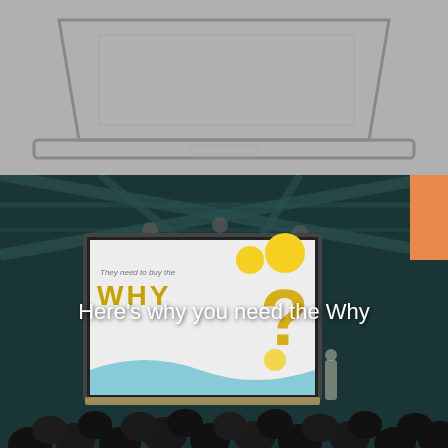[Figure (illustration): Gray background illustration showing a laptop or screen outline with a rectangular frame, cropped top portion of a device schematic.]
[Figure (photo): Dark photograph of a conference or event hall with industrial truss ceiling, audience silhouettes in foreground, large presentation screen showing 'They need to buy the WHY' with yellow question mark and decorative circles. White text overlay reads 'Here's why you need the Why'. Orange tab on right edge.]